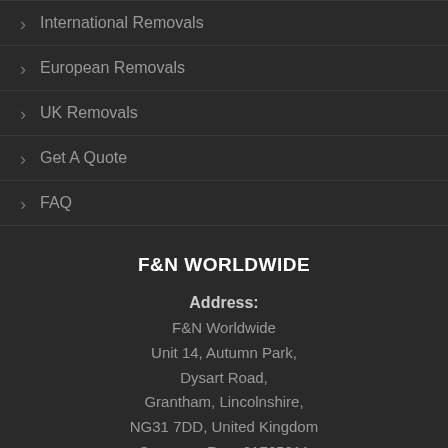International Removals
European Removals
UK Removals
Get A Quote
FAQ
F&N WORLDWIDE
Address:
F&N Worldwide
Unit 14, Autumn Park,
Dysart Road,
Grantham, Lincolnshire,
NG31 7DD, United Kingdom
Company Reg: 01765011
Free Phone: